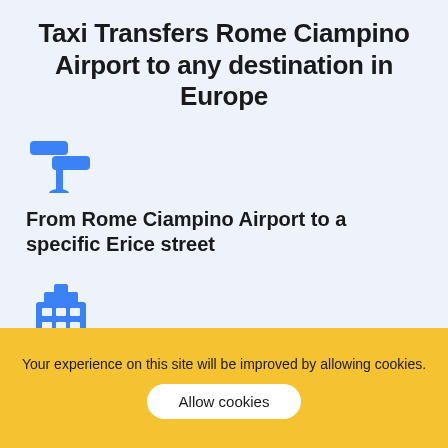Taxi Transfers Rome Ciampino Airport to any destination in Europe
[Figure (illustration): Blue road sign / crossroads icon]
From Rome Ciampino Airport to a specific Erice street
[Figure (illustration): Blue city/building icon]
Your experience on this site will be improved by allowing cookies.
Allow cookies